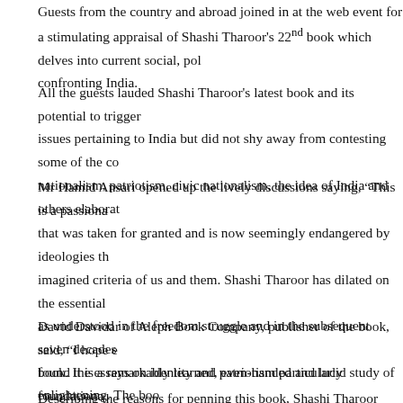Guests from the country and abroad joined in at the web event for a stimulating appraisal of Shashi Tharoor's 22nd book which delves into current social, political issues confronting India.
All the guests lauded Shashi Tharoor's latest book and its potential to trigger issues pertaining to India but did not shy away from contesting some of the concepts of nationalism, patriotism, civic nationalism, the idea of India and others elaborated in it.
Mr Hamid Ansari opened up the lively discussions saying, “This is a passionate defence of that was taken for granted and is now seemingly endangered by ideologies that work on imagined criteria of us and them. Shashi Tharoor has dilated on the essential idea of India as understood in the freedom struggle and in the subsequent seven decades. I personally found the essays on identity and patriotism particularly enlightening. The book is comprehensive, yet it stops short of suggesting a doable recipe for correcting
David Davidar of Aleph Book Company, publisher of the book, said, “I hope everyone reads this book. It is a remarkably learned, even-handed and lucid study of foundational national values. This book falls in the rarest-of-rare ‘Indispensable’ category - a book we cannot do without. I hope people will be reading and discussing “The Battle of Belonging
Describing the reasons for penning this book, Shashi Tharoor said, “This book lifetime’s thoughts, readings and arguments on issues of nationalism, and